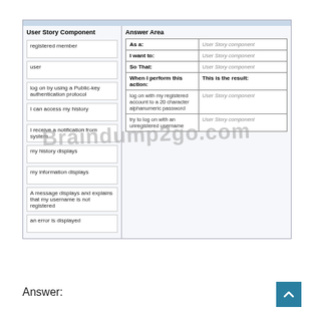| User Story Component | Answer Area |
| --- | --- |
| registered member | As a: | User Story component |
| user | I want to: | User Story component |
| log on by using a Public-key authentication protocol | So That: | User Story component |
| I can access my history | When I perform this action: | This is the result: |
| I receive a notification from system | log on with my registered account to a 20 character alphanumeric password | User Story component |
| my history displays | try to log on with an unregistered username | User Story component |
| my information displays |  |
| A message displays and explains that my username is not registered |  |
| an error is displayed |  |
Answer: